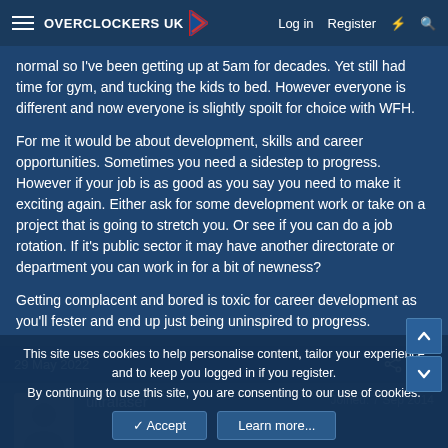Overclockers UK — Log in | Register
normal so I've been getting up at 5am for decades. Yet still had time for gym, and tucking the kids to bed. However everyone is different and now everyone is slightly spoilt for choice with WFH.

For me it would be about development, skills and career opportunities. Sometimes you need a sidestep to progress. However if your job is as good as you say you need to make it exciting again. Either ask for some development work or take on a project that is going to stretch you. Or see if you can do a job rotation. If it's public sector it may have another directorate or department you can work in for a bit of newness?

Getting complacent and bored is toxic for career development as you'll fester and end up just being uninspired to progress.
29 May 2022  #27
ultralaser  Joined: 7 Sep 2014
This site uses cookies to help personalise content, tailor your experience and to keep you logged in if you register.
By continuing to use this site, you are consenting to our use of cookies.